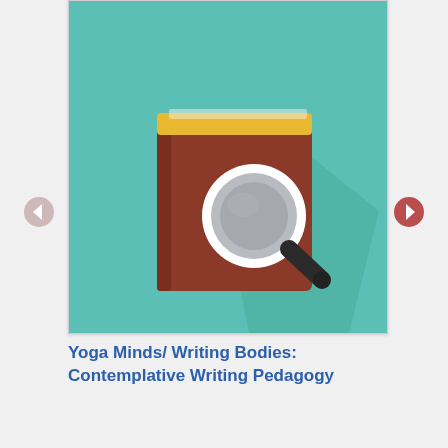[Figure (illustration): Flat illustration of a brown book with a yellow spine/top band and a magnifying glass overlaid on its cover, set against a teal/mint green background with a subtle shadow shape.]
Yoga Minds/ Writing Bodies: Contemplative Writing Pedagogy